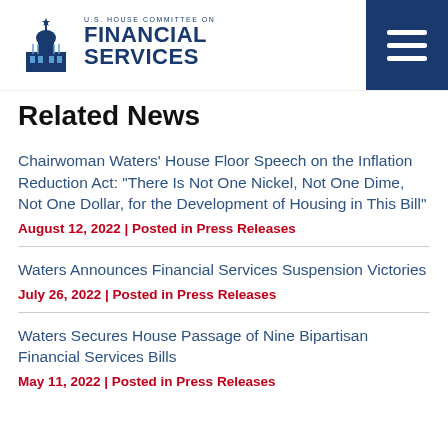[Figure (logo): U.S. House Committee on Financial Services logo with capitol building icon and text]
Related News
Chairwoman Waters’ House Floor Speech on the Inflation Reduction Act: “There Is Not One Nickel, Not One Dime, Not One Dollar, for the Development of Housing in This Bill”
August 12, 2022 | Posted in Press Releases
Waters Announces Financial Services Suspension Victories
July 26, 2022 | Posted in Press Releases
Waters Secures House Passage of Nine Bipartisan Financial Services Bills
May 11, 2022 | Posted in Press Releases